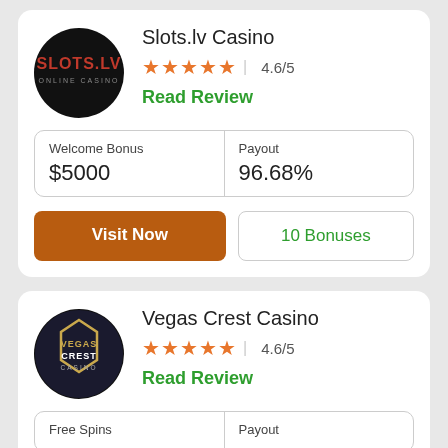[Figure (logo): Slots.lv Online Casino logo — white text on black circle]
Slots.lv Casino
4.6/5
Read Review
| Welcome Bonus | Payout |
| --- | --- |
| $5000 | 96.68% |
Visit Now
10 Bonuses
[Figure (logo): Vegas Crest Casino logo — ornate gold shield on dark circle]
Vegas Crest Casino
4.6/5
Read Review
| Free Spins | Payout |
| --- | --- |